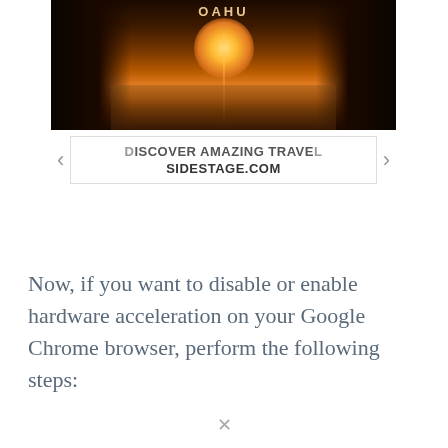[Figure (screenshot): Advertisement banner showing a scenic sunset image of Oahu with rocky coastline, navigation arrows on left and right, and text 'DISCOVER AMAZING TRAVEL SIDESTAGE.COM']
Now, if you want to disable or enable hardware acceleration on your Google Chrome browser, perform the following steps: